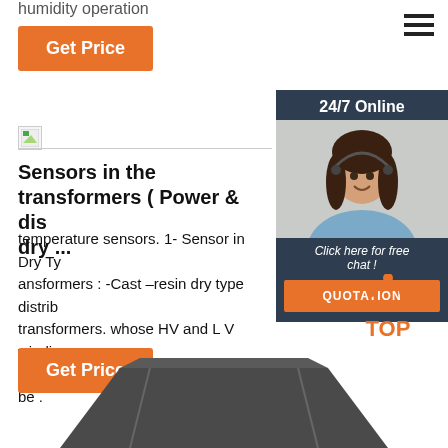humidity operation
[Figure (other): Orange Get Price button]
[Figure (other): Hamburger menu icon top right]
[Figure (other): Small image placeholder icon]
Sensors in the transformers ( Power & dis dry ...
temperature sensors. 1- Sensor in Dry Ty ansformers : -Cast –resin dry type distrib transformers. whose HV and L V windings with. cast-resin under vacuum. -lt can be .
[Figure (other): Orange Get Price button (second)]
[Figure (other): 24/7 Online chat sidebar with agent photo and QUOTATION button]
[Figure (logo): TOP back-to-top icon with orange triangle dots]
[Figure (photo): Partial image of a dark metallic transformer component at bottom]